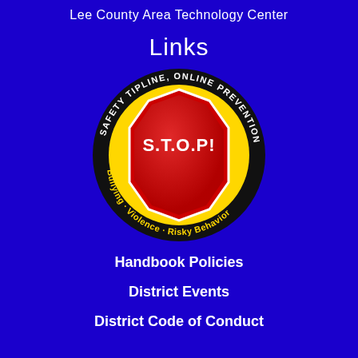Lee County Area Technology Center
Links
[Figure (logo): S.T.O.P! logo - Safety Tipline, Online Prevention. Black circular badge with yellow inner circle and red octagon stop sign in center. Text around ring reads 'Safety Tipline, Online Prevention' at top and 'Bullying · Violence · Risky Behavior' at bottom in yellow.]
Handbook Policies
District Events
District Code of Conduct